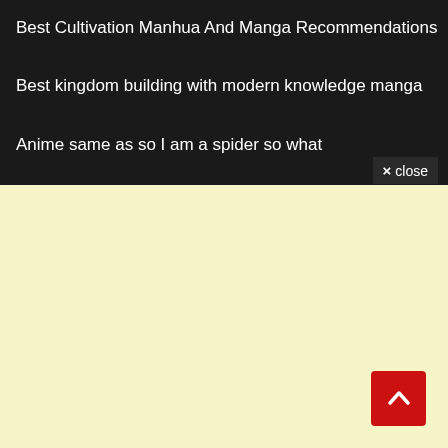Best Cultivation Manhua And Manga Recommendations
Best kingdom building with modern knowledge manga
Anime same as so I am a spider so what
× close
[Figure (other): Red scroll-to-top button with upward chevron arrow]